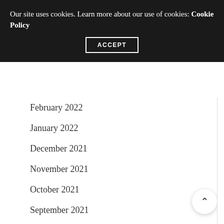Our site uses cookies. Learn more about our use of cookies: Cookie Policy
ACCEPT
February 2022
January 2022
December 2021
November 2021
October 2021
September 2021
December 2020
December 2018
November 2018
October 2018
September 2018